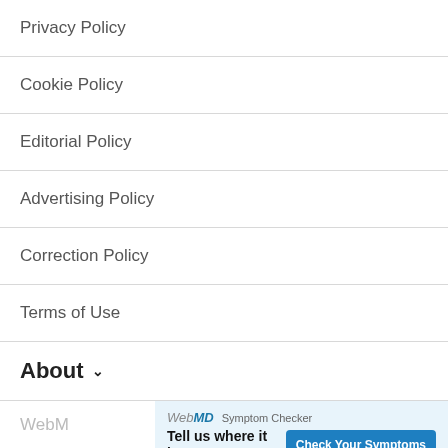Privacy Policy
Cookie Policy
Editorial Policy
Advertising Policy
Correction Policy
Terms of Use
About ▾
WebM...
[Figure (infographic): WebMD Symptom Checker advertisement banner: 'Tell us where it hurts.' with a 'Check Your Symptoms' button]
C...